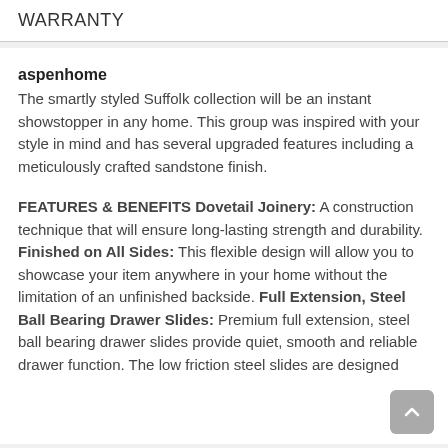WARRANTY
aspenhome
The smartly styled Suffolk collection will be an instant showstopper in any home. This group was inspired with your style in mind and has several upgraded features including a meticulously crafted sandstone finish.
FEATURES & BENEFITS Dovetail Joinery: A construction technique that will ensure long-lasting strength and durability. Finished on All Sides: This flexible design will allow you to showcase your item anywhere in your home without the limitation of an unfinished backside. Full Extension, Steel Ball Bearing Drawer Slides: Premium full extension, steel ball bearing drawer slides provide quiet, smooth and reliable drawer function. The low friction steel slides are designed